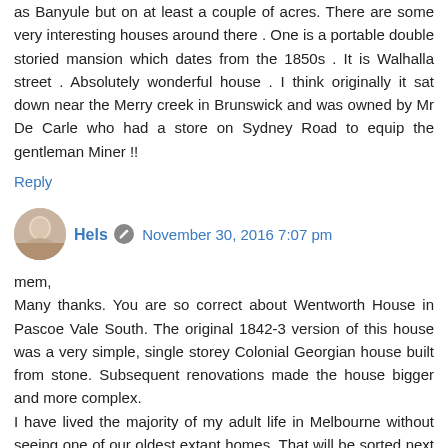as Banyule but on at least a couple of acres. There are some very interesting houses around there . One is a portable double storied mansion which dates from the 1850s . It is Walhalla street . Absolutely wonderful house . I think originally it sat down near the Merry creek in Brunswick and was owned by Mr De Carle who had a store on Sydney Road to equip the gentleman Miner !!
Reply
Hels  November 30, 2016 7:07 pm
mem,
Many thanks. You are so correct about Wentworth House in Pascoe Vale South. The original 1842-3 version of this house was a very simple, single storey Colonial Georgian house built from stone. Subsequent renovations made the house bigger and more complex.
I have lived the majority of my adult life in Melbourne without seeing one of our oldest extant homes. That will be sorted next week!